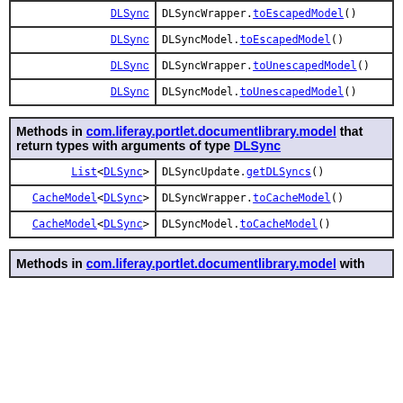| Type | Method |
| --- | --- |
| DLSync | DLSyncWrapper.toEscapedModel() |
| DLSync | DLSyncModel.toEscapedModel() |
| DLSync | DLSyncWrapper.toUnescapedModel() |
| DLSync | DLSyncModel.toUnescapedModel() |
| Methods in com.liferay.portlet.documentlibrary.model that return types with arguments of type DLSync |  |
| --- | --- |
| List<DLSync> | DLSyncUpdate.getDLSyncs() |
| CacheModel<DLSync> | DLSyncWrapper.toCacheModel() |
| CacheModel<DLSync> | DLSyncModel.toCacheModel() |
| Methods in com.liferay.portlet.documentlibrary.model with |  |
| --- | --- |